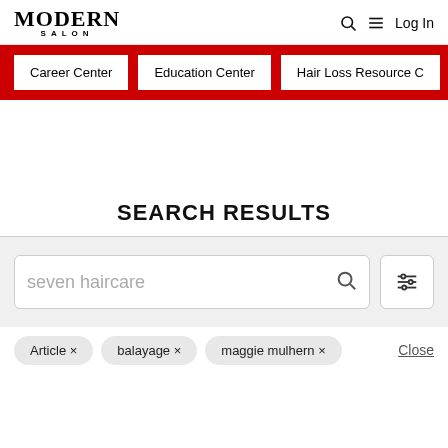MODERN SALON
Career Center
Education Center
Hair Loss Resource C
SEARCH RESULTS
seven haircare
Article ×   balayage ×   maggie mulhern ×   Close